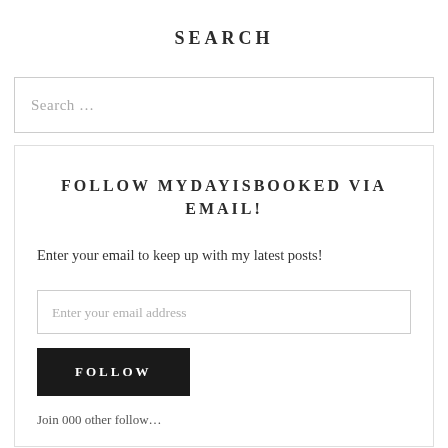SEARCH
Search …
FOLLOW MYDAYISBOOKED VIA EMAIL!
Enter your email to keep up with my latest posts!
Enter your email address
FOLLOW
Join 000 other followers